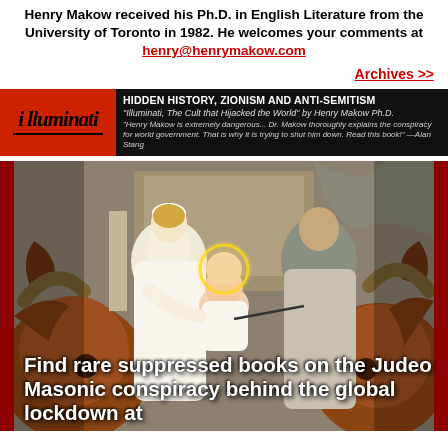Henry Makow received his Ph.D. in English Literature from the University of Toronto in 1982. He welcomes your comments at henry@henrymakow.com
Archives >>
[Figure (infographic): Illuminati book advertisement banner with red background on left showing stylized 'illuminati' text logo, and black background on right with text: HIDDEN HISTORY, ZIONISM AND ANTI-SEMITISM. 'Illuminati, The Cult that Hijacked the World' by Henry Makow Ph.D. Quote from Alan Stang about the book.]
[Figure (photo): A painting depicting a nativity-like scene with a woman in white, a baby, and a dark-robed figure, flanked by bull/ox heads. Overlaid text reads: Find rare suppressed books on the Judeo Masonic conspiracy behind the global lockdown at]
Find rare suppressed books on the Judeo Masonic conspiracy behind the global lockdown at